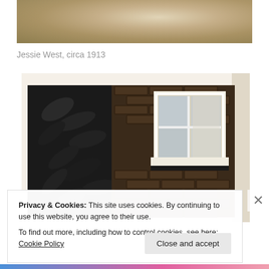[Figure (photo): Old sepia/tan photograph showing an outdoor scene, partially visible at top of page, cropped]
Jessie West, circa 1913
[Figure (photo): Black and white photograph of a brick building exterior with a window and shrubbery/leaves in the foreground]
Privacy & Cookies: This site uses cookies. By continuing to use this website, you agree to their use.
To find out more, including how to control cookies, see here: Cookie Policy
Close and accept